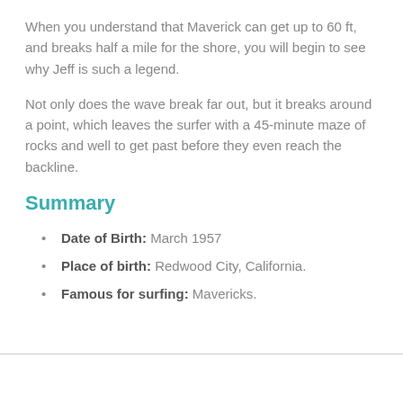When you understand that Maverick can get up to 60 ft, and breaks half a mile for the shore, you will begin to see why Jeff is such a legend.
Not only does the wave break far out, but it breaks around a point, which leaves the surfer with a 45-minute maze of rocks and well to get past before they even reach the backline.
Summary
Date of Birth: March 1957
Place of birth: Redwood City, California.
Famous for surfing: Mavericks.